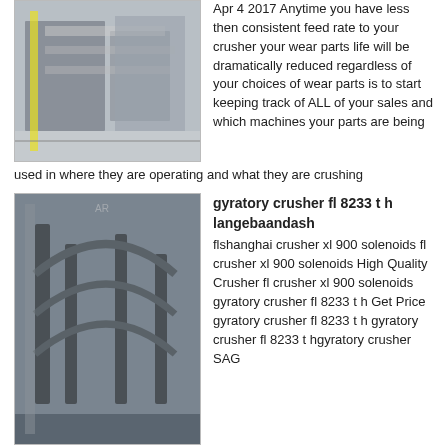[Figure (photo): Industrial conveyor/crushing equipment with yellow safety rails]
Apr 4 2017 Anytime you have less then consistent feed rate to your crusher your wear parts life will be dramatically reduced regardless of your choices of wear parts is to start keeping track of ALL of your sales and which machines your parts are being used in where they are operating and what they are crushing
[Figure (photo): Large industrial gyratory crusher structure with metal framework]
gyratory crusher fl 8233 t h langebaandash
flshanghai crusher xl 900 solenoids fl crusher xl 900 solenoids High Quality Crusher fl crusher xl 900 solenoids gyratory crusher fl 8233 t h Get Price gyratory crusher fl 8233 t h gyratory crusher fl 8233 t hgyratory crusher SAG grinding mills Mining gyratory crusher SAG mill ball mill for copper ore mining fuller
[Figure (photo): Industrial conveyor belt equipment at mining site]
Harga Jaw Crusher Buatan Australia mbokodoinns
harga jaw crusher buatan australia Harga jaw crusher bekas buatan jerman jaw